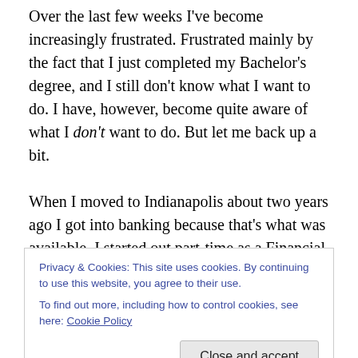Over the last few weeks I've become increasingly frustrated. Frustrated mainly by the fact that I just completed my Bachelor's degree, and I still don't know what I want to do. I have, however, become quite aware of what I don't want to do. But let me back up a bit.

When I moved to Indianapolis about two years ago I got into banking because that's what was available. I started out part-time as a Financial Services Rep, at a location inside of a Walmart store on the south side of town. This morning, as I ran a teller line at a traditional branch on the
Privacy & Cookies: This site uses cookies. By continuing to use this website, you agree to their use.
To find out more, including how to control cookies, see here: Cookie Policy
It's supposed to become a full-time admin gig soon. It can't